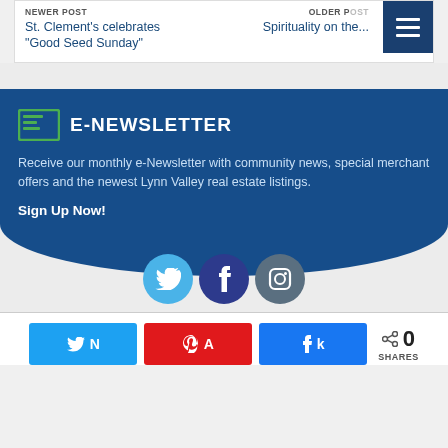NEWER POST
St. Clement's celebrates "Good Seed Sunday"
OLDER POST
Spirituality on the...
E-NEWSLETTER
Receive our monthly e-Newsletter with community news, special merchant offers and the newest Lynn Valley real estate listings.
Sign Up Now!
[Figure (infographic): Social media icons: Twitter (light blue circle), Facebook (dark blue circle), Instagram (gray-blue circle)]
[Figure (infographic): Share buttons row: Twitter (blue), Pinterest (red), Facebook (blue), plus share count showing 0 SHARES]